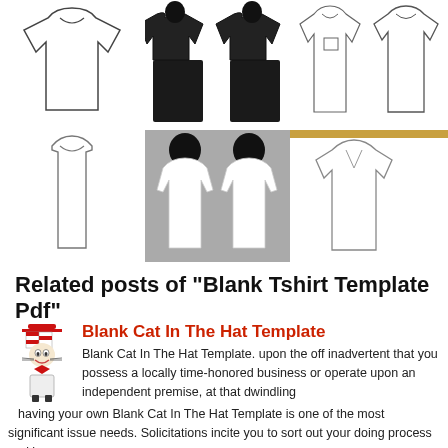[Figure (illustration): Grid of 7 blank t-shirt template images in two rows: front views, back views, with pocket, plain outlines]
Related posts of "Blank Tshirt Template Pdf"
[Figure (illustration): Cat In The Hat cartoon character thumbnail]
Blank Cat In The Hat Template
Blank Cat In The Hat Template. upon the off inadvertent that you possess a locally time-honored business or operate upon an independent premise, at that dwindling having your own Blank Cat In The Hat Template is one of the most significant issue needs. Solicitations incite you to sort out your doing process and keep a...